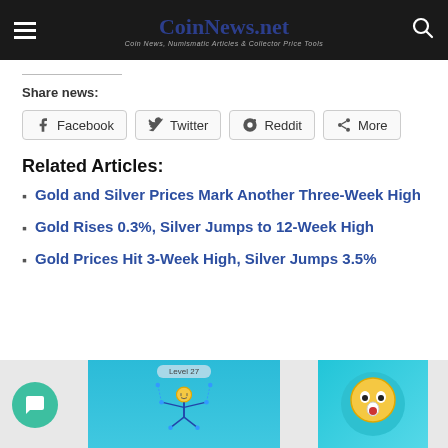CoinNews.net — Coin News, Numismatic Articles & Collector Price Tools
Share news:
Facebook | Twitter | Reddit | More
Related Articles:
Gold and Silver Prices Mark Another Three-Week High
Gold Rises 0.3%, Silver Jumps to 12-Week High
Gold Prices Hit 3-Week High, Silver Jumps 3.5%
[Figure (screenshot): Bottom advertisement area showing a game screenshot with Level 27 and a stick figure, alongside another game icon with an emoji face.]